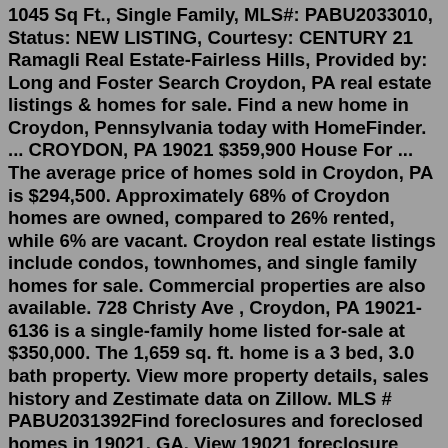1045 Sq Ft., Single Family, MLS#: PABU2033010, Status: NEW LISTING, Courtesy: CENTURY 21 Ramagli Real Estate-Fairless Hills, Provided by: Long and Foster Search Croydon, PA real estate listings & homes for sale. Find a new home in Croydon, Pennsylvania today with HomeFinder. ... CROYDON, PA 19021 $359,900 House For ... The average price of homes sold in Croydon, PA is $294,500. Approximately 68% of Croydon homes are owned, compared to 26% rented, while 6% are vacant. Croydon real estate listings include condos, townhomes, and single family homes for sale. Commercial properties are also available. 728 Christy Ave , Croydon, PA 19021-6136 is a single-family home listed for-sale at $350,000. The 1,659 sq. ft. home is a 3 bed, 3.0 bath property. View more property details, sales history and Zestimate data on Zillow. MLS # PABU2031392Find foreclosures and foreclosed homes in 19021, GA. View 19021 foreclosure house photos, foreclosure home details, pre-foreclosed home outstanding loan balances & foreclosed homes on